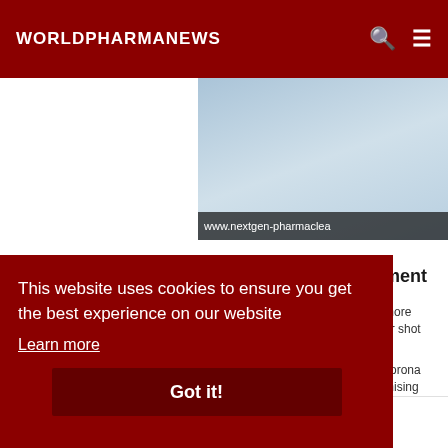WORLDPHARMANEWS
[Figure (photo): Pharmaceutical/lab background image with www.nextgen-pharmaclea... URL watermark]
This website uses cookies to ensure you get the best experience on our website
Learn more
Got it!
ment
more
er shot
corona
mising
Modernas innovative
Study first to link weed